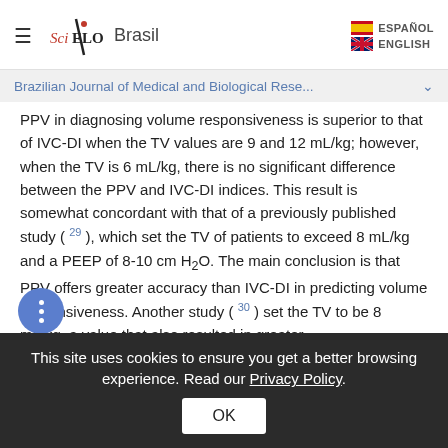SciELO Brasil — ESPAÑOL / ENGLISH
Brazilian Journal of Medical and Biological Rese...
PPV in diagnosing volume responsiveness is superior to that of IVC-DI when the TV values are 9 and 12 mL/kg; however, when the TV is 6 mL/kg, there is no significant difference between the PPV and IVC-DI indices. This result is somewhat concordant with that of a previously published study ( 29 ), which set the TV of patients to exceed 8 mL/kg and a PEEP of 8-10 cm H₂O. The main conclusion is that PPV offers greater accuracy than IVC-DI in predicting volume responsiveness. Another study ( 30 ) set the TV to be 8 mL/kg, a value that also resulted in greater
This site uses cookies to ensure you get a better browsing experience. Read our Privacy Policy.